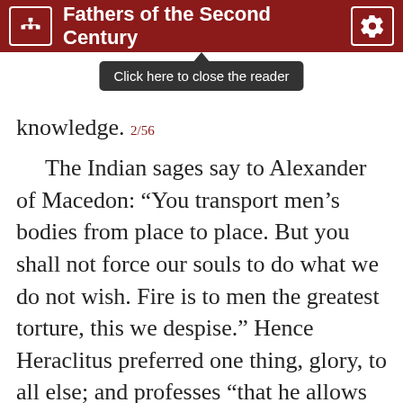Fathers of the Second Century
knowledge. 2/56
The Indian sages say to Alexander of Macedon: “You transport men’s bodies from place to place. But you shall not force our souls to do what we do not wish. Fire is to men the greatest torture, this we despise.” Hence Heraclitus preferred one thing, glory, to all else; and professes “that he allows the crowd to stuff themselves to satiety like cattle.”
“For on account of the body are many toils,
For it we have invented a roofed house,
And discovered how to dig up silver, and